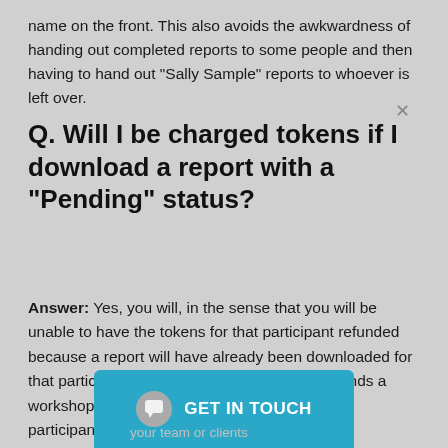name on the front. This also avoids the awkwardness of handing out completed reports to some people and then having to hand out “Sally Sample” reports to whoever is left over.
Q. Will I be charged tokens if I download a report with a “Pending” status?
Answer: Yes, you will, in the sense that you will be unable to have the tokens for that participant refunded because a report will have already been downloaded for that participant. In essence, if a participant attends a workshop that has the Genos report built in, all participants i[...] Intellectual Property tha[...] not just the participants [your team or client...] here is a
[Figure (other): Teal/blue GET IN TOUCH chat widget button overlay at bottom of page]